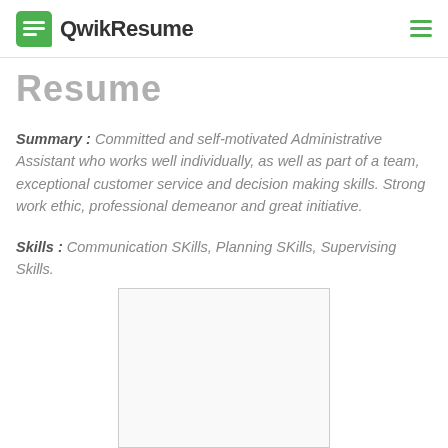QwikResume
Resume
Summary : Committed and self-motivated Administrative Assistant who works well individually, as well as part of a team, exceptional customer service and decision making skills. Strong work ethic, professional demeanor and great initiative.
Skills : Communication SKills, Planning SKills, Supervising Skills.
[Figure (other): Empty preview/thumbnail box with light border]